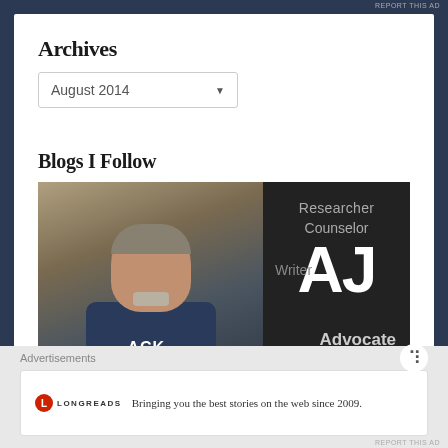Archives
August 2014
Blogs I Follow
[Figure (photo): Portrait photo of a man in a dark blazer and graphic t-shirt]
[Figure (infographic): Dark card with text: Researcher, Counselor, Writer, AJ, Advocate, Educator, Teacher, Motivator]
Advertisements
[Figure (logo): Longreads logo — red circle with L]
Bringing you the best stories on the web since 2009.